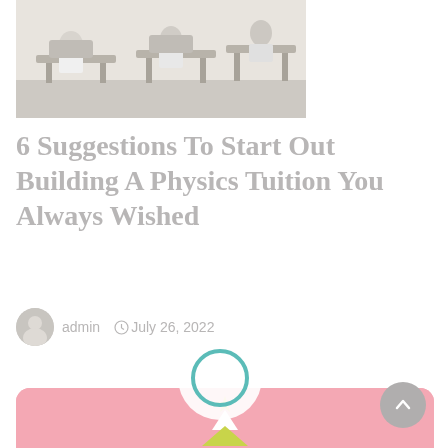[Figure (photo): Classroom photo showing students at desks, black and white / muted tones]
6 Suggestions To Start Out Building A Physics Tuition You Always Wished
admin   July 26, 2022
[Figure (illustration): Pink background card with a stylized 3D Christmas tree illustration featuring a star on top, white and yellow-green cone tiers, and a gift box at the base]